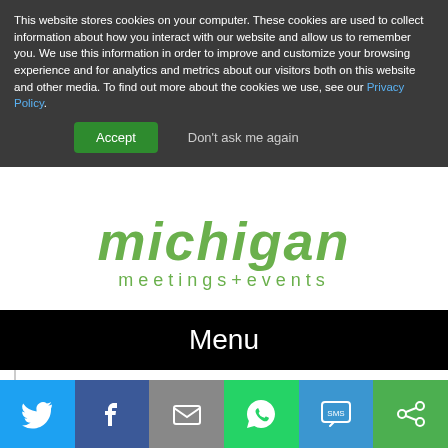This website stores cookies on your computer. These cookies are used to collect information about how you interact with our website and allow us to remember you. We use this information in order to improve and customize your browsing experience and for analytics and metrics about our visitors both on this website and other media. To find out more about the cookies we use, see our Privacy Policy.
Accept | Don't ask me again
[Figure (logo): Michigan meetings+events logo in green italic text]
Menu
Search
LAS VEGAS
[Figure (infographic): Social sharing bar with Twitter, Facebook, Email, WhatsApp, SMS, and ShareThis buttons]